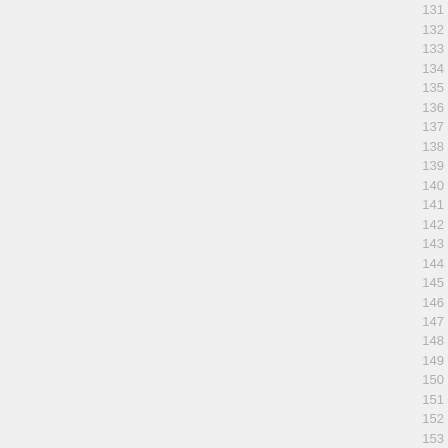131
132
133
134
135
136
137
138
139
140
141
142
143
144
145
146
147
148
149
150
151
152
153